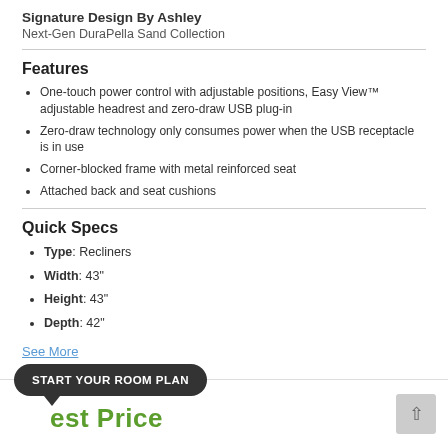Signature Design By Ashley
Next-Gen DuraPella Sand Collection
Features
One-touch power control with adjustable positions, Easy View™ adjustable headrest and zero-draw USB plug-in
Zero-draw technology only consumes power when the USB receptacle is in use
Corner-blocked frame with metal reinforced seat
Attached back and seat cushions
Quick Specs
Type: Recliners
Width: 43"
Height: 43"
Depth: 42"
See More
START YOUR ROOM PLAN
Call for Best Price